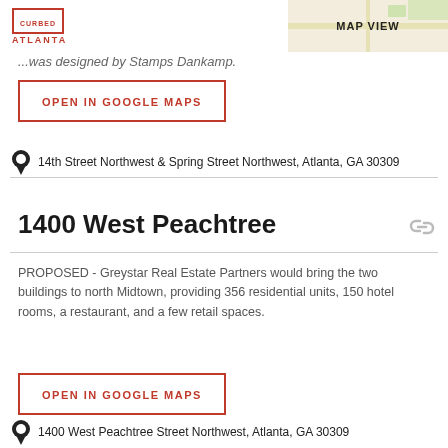CURBED ATLANTA
...was designed by Stamps Dankamp.
OPEN IN GOOGLE MAPS
14th Street Northwest & Spring Street Northwest, Atlanta, GA 30309
1400 West Peachtree
PROPOSED - Greystar Real Estate Partners would bring the two buildings to north Midtown, providing 356 residential units, 150 hotel rooms, a restaurant, and a few retail spaces.
OPEN IN GOOGLE MAPS
1400 West Peachtree Street Northwest, Atlanta, GA 30309